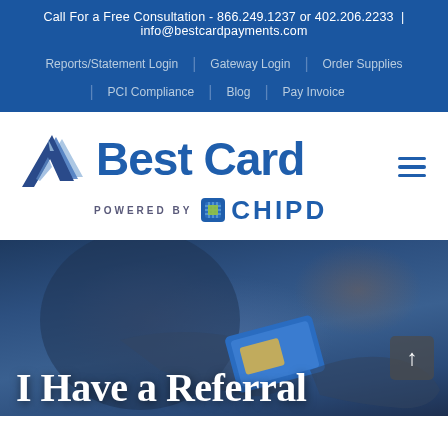Call For a Free Consultation - 866.249.1237 or 402.206.2233 | info@bestcardpayments.com
Reports/Statement Login
Gateway Login
Order Supplies
PCI Compliance
Blog
Pay Invoice
[Figure (logo): Best Card logo with arrow icon, powered by CHIPD]
[Figure (photo): Person handing a blue credit card to another person, dark overlay with hero text]
I Have a Referral